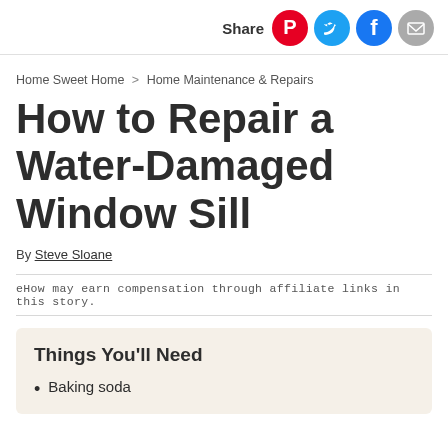Share
Home Sweet Home > Home Maintenance & Repairs
How to Repair a Water-Damaged Window Sill
By Steve Sloane
eHow may earn compensation through affiliate links in this story.
Things You'll Need
Baking soda